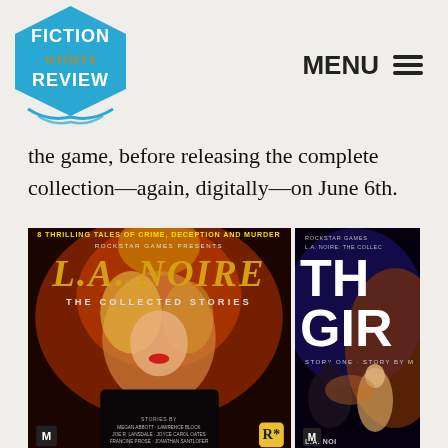[Figure (logo): Fiction Writers Review logo — blue pentagon/badge shape with 'FICTION' in white, 'writers' in orange/gold italic, 'REVIEW' in white, with decorative swoosh lines beneath]
MENU ≡
the game, before releasing the complete collection—again, digitally—on June 6th.
[Figure (photo): Book cover of 'L.A. Noire: The Collected Stories' published by Rockstar Games — showing a noir-style illustration of a blonde woman in red/orange dramatic lighting with text '8 Thrilling Tales of Crime, Deception and Murder']
[Figure (photo): Partial book cover of 'L.A. Noire: The Collected Stories' individual story — showing 'THE GIRL' title (partially visible) with noir illustration of a woman and shadowed figure, 'Story One' subtitle, from Rockstar Games]